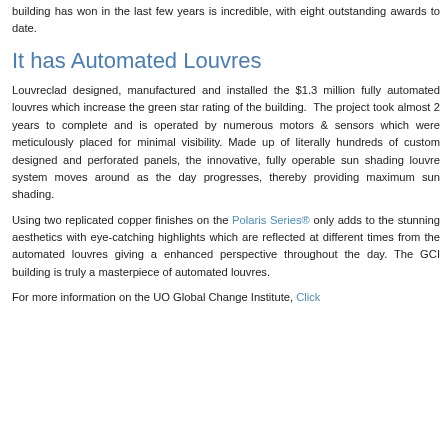building has won in the last few years is incredible, with eight outstanding awards to date.
It has Automated Louvres
Louvreclad designed, manufactured and installed the $1.3 million fully automated louvres which increase the green star rating of the building. The project took almost 2 years to complete and is operated by numerous motors & sensors which were meticulously placed for minimal visibility. Made up of literally hundreds of custom designed and perforated panels, the innovative, fully operable sun shading louvre system moves around as the day progresses, thereby providing maximum sun shading.
Using two replicated copper finishes on the Polaris Series® only adds to the stunning aesthetics with eye-catching highlights which are reflected at different times from the automated louvres giving a enhanced perspective throughout the day. The GCI building is truly a masterpiece of automated louvres.
For more information on the UO Global Change Institute, Click